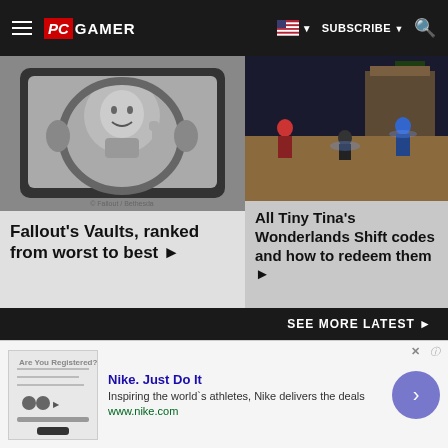PC GAMER | SUBSCRIBE | Search
[Figure (screenshot): Black and white screenshot of Vault Boy character from Fallout with a thumbs up, inside a circular vault door]
Fallout's Vaults, ranked from worst to best ▶
[Figure (screenshot): Colorful action screenshot from Tiny Tina's Wonderlands showing combat with characters in an outdoor environment]
All Tiny Tina's Wonderlands Shift codes and how to redeem them ▶
SEE MORE LATEST ▶
[Figure (other): Nike advertisement with thumbnail, title Nike. Just Do It, description text, and navigation arrow]
Nike. Just Do It
Inspiring the world's athletes, Nike delivers the deals
www.nike.com